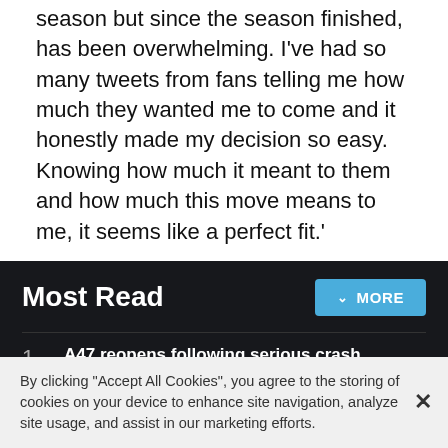season but since the season finished, has been overwhelming. I've had so many tweets from fans telling me how much they wanted me to come and it honestly made my decision so easy. Knowing how much it meant to them and how much this move means to me, it seems like a perfect fit.'
Most Read
A47 reopens following serious crash involving lorry and pedestrian
Concerns for missing 13-year-old from Norfolk village
This is when thunderstorms will hit Norfolk this week
By clicking "Accept All Cookies", you agree to the storing of cookies on your device to enhance site navigation, analyze site usage, and assist in our marketing efforts.